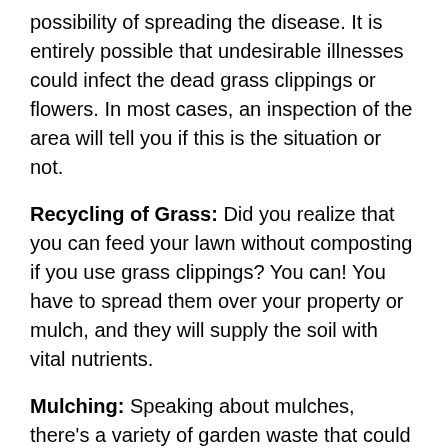possibility of spreading the disease. It is entirely possible that undesirable illnesses could infect the dead grass clippings or flowers. In most cases, an inspection of the area will tell you if this is the situation or not.
Recycling of Grass: Did you realize that you can feed your lawn without composting if you use grass clippings? You can! You have to spread them over your property or mulch, and they will supply the soil with vital nutrients.
Mulching: Speaking about mulches, there's a variety of garden waste that could be used to make mulch. If you are in a suburban or large neighborhood with an association, you can inquire with them to see whether they have a shared chipper. Specific communities offer communal chippers for residents to use, where